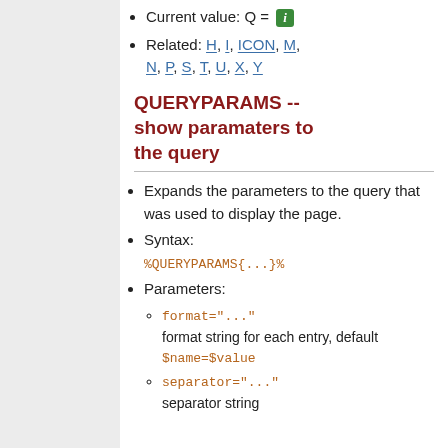Current value: Q = [i icon]
Related: H, I, ICON, M, N, P, S, T, U, X, Y
QUERYPARAMS -- show paramaters to the query
Expands the parameters to the query that was used to display the page.
Syntax: %QUERYPARAMS{...}%
Parameters:
format="..." format string for each entry, default $name=$value
separator="..." separator string